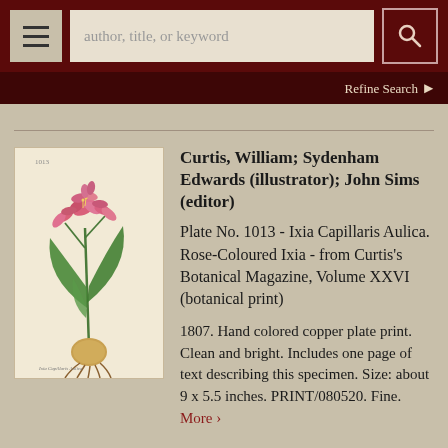author, title, or keyword | Refine Search
[Figure (illustration): Botanical illustration of Ixia Capillaris Aulica (Rose-Coloured Ixia), a hand colored copper plate print showing pink flowers on a tall stem with green leaves and a bulb with roots at the base. From Curtis's Botanical Magazine, 1807.]
Curtis, William; Sydenham Edwards (illustrator); John Sims (editor)
Plate No. 1013 - Ixia Capillaris Aulica. Rose-Coloured Ixia - from Curtis's Botanical Magazine, Volume XXVI (botanical print)
1807. Hand colored copper plate print. Clean and bright. Includes one page of text describing this specimen. Size: about 9 x 5.5 inches. PRINT/080520. Fine. More >